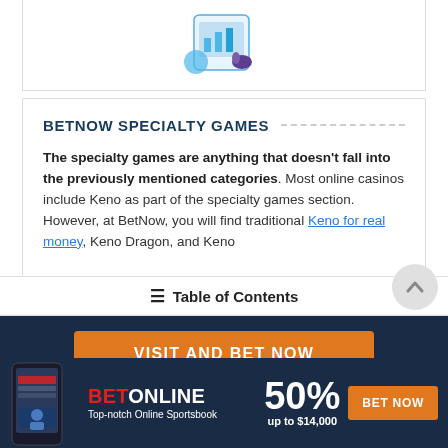[Figure (illustration): Illustration of a mobile analytics/stats screen with bar chart and a hand pointing, in blue tones]
BETNOW SPECIALTY GAMES
The specialty games are anything that doesn't fall into the previously mentioned categories. Most online casinos include Keno as part of the specialty games section. However, at BetNow, you will find traditional Keno for real money, Keno Dragon, and Keno
[Figure (screenshot): Table of Contents overlay bar]
[Figure (infographic): VISIT AND BET NOW orange CTA button on dark navy background]
[Figure (infographic): BetOnline advertisement banner: phone image, BET ONLINE logo, Top-notch Online Sportsbook tagline, 50% up to $14,000 offer, BET NOW button]